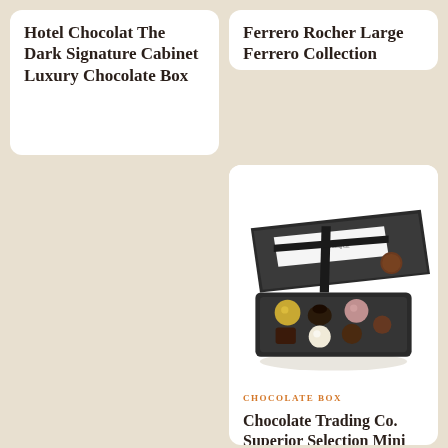Hotel Chocolat The Dark Signature Cabinet Luxury Chocolate Box
Ferrero Rocher Large Ferrero Collection
[Figure (photo): An open dark chocolate gift box with assorted chocolates including gold, dark, white and pink truffles, tied with a black ribbon and a branded seal]
CHOCOLATE BOX
Chocolate Trading Co. Superior Selection Mini Chocolate Box 64g